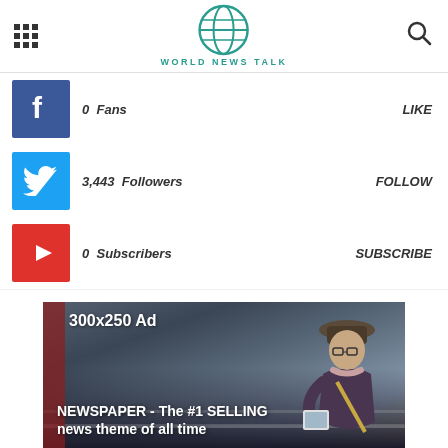World News Talk
0  Fans  LIKE
3,443  Followers  FOLLOW
0  Subscribers  SUBSCRIBE
[Figure (photo): Advertisement banner showing a person reading at a train station with text '300x250 Ad' and 'NEWSPAPER - The #1 SELLING news theme of all time']